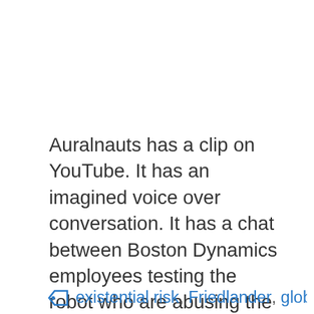Auralnauts has a clip on YouTube. It has an imagined voice over conversation. It has a chat between Boston Dynamics employees testing the robot who are abusing the robot. The AI-powered machine decides to fight back against bullying. Brian WangBrian Wang is a Futurist Thought Leader and a popular Science blogger with 1 million readers ...
Read more
existential risk, Friedlander, global